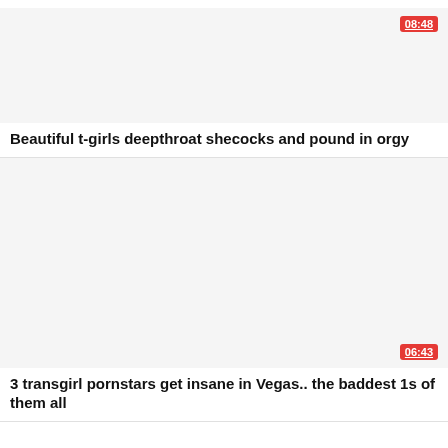[Figure (screenshot): Video thumbnail placeholder (white/light gray area) with red duration badge showing 08:48 in upper right]
Beautiful t-girls deepthroat shecocks and pound in orgy
[Figure (screenshot): Video thumbnail placeholder (white/light gray area) with red duration badge showing 06:43 in lower right]
3 transgirl pornstars get insane in Vegas.. the baddest 1s of them all